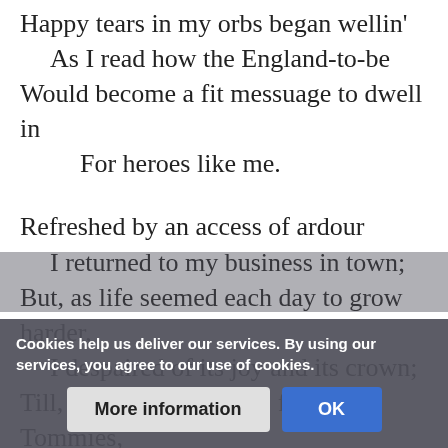Happy tears in my orbs began wellin'
    As I read how the England-to-be
Would become a fit messuage to dwell in
        For heroes like me.

Refreshed by an access of ardour
    I returned to my business in town;
But, as life seemed each day to grow harder,
    I despaired of its joy and its crown;
Till, fed up with a "tale" for poor Tommies,
    My temper I finally lost,
    And pronounced that practual "promise"
    A
Cookies help us deliver our services. By using our services, you agree to our use of cookies.